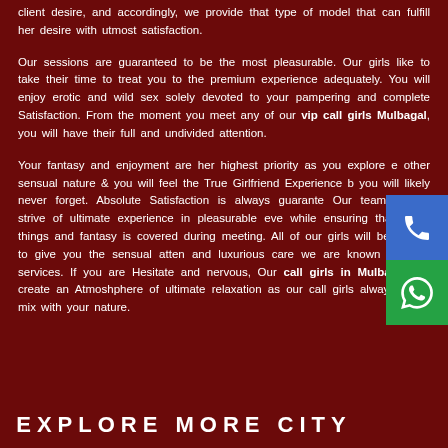client desire, and accordingly, we provide that type of model that can fulfill her desire with utmost satisfaction.
Our sessions are guaranteed to be the most pleasurable. Our girls like to take their time to treat you to the premium experience adequately. You will enjoy erotic and wild sex solely devoted to your pampering and complete Satisfaction. From the moment you meet any of our vip call girls Mulbagal, you will have their full and undivided attention.
Your fantasy and enjoyment are her highest priority as you explore e other sensual nature & you will feel the True Girlfriend Experience b you will likely never forget. Absolute Satisfaction is always guarante Our team always strive of ultimate experience in pleasurable eve while ensuring that every things and fantasy is covered during meeting. All of our girls will be certain to give you the sensual atten and luxurious care we are known for best services. If you are Hesitate and nervous, Our call girls in Mulbagal will create an Atmoshphere of ultimate relaxation as our call girls always try to mix with your nature.
EXPLORE MORE CITY